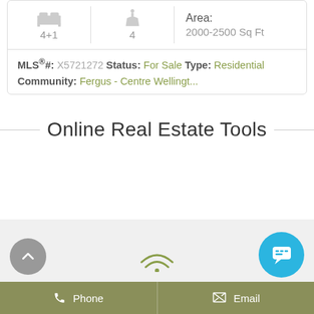4+1 | 4 | Area: 2000-2500 Sq Ft
MLS®#: X5721272 Status: For Sale Type: Residential Community: Fergus - Centre Wellingt...
Online Real Estate Tools
Phone
Email